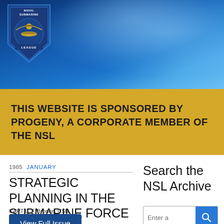[Figure (logo): Naval Submarine League badge/logo with eagle and submarine imagery, dark blue shield shape with gold text reading NAVAL SUBMARINE LEAGUE at top and LEAGUE at bottom]
THIS WEBSITE IS SPONSORED BY PROGENY, A CORPORATE MEMBER OF THE NSL
1985  JANUARY
STRATEGIC PLANNING IN THE SUBMARINE FORCE
CAPT L. F. Brooke, USN
View Full Issue
Search the NSL Archive
Enter a